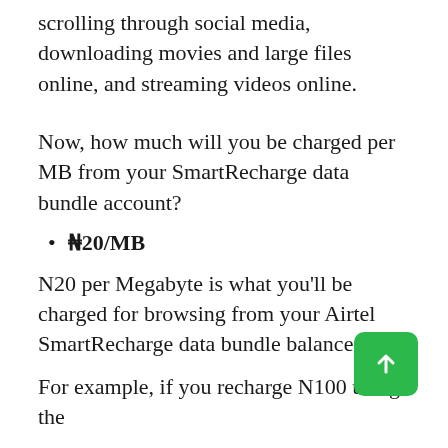scrolling through social media, downloading movies and large files online, and streaming videos online.
Now, how much will you be charged per MB from your SmartRecharge data bundle account?
₦20/MB
N20 per Megabyte is what you'll be charged for browsing from your Airtel SmartRecharge data bundle balance.
For example, if you recharge N100 using the